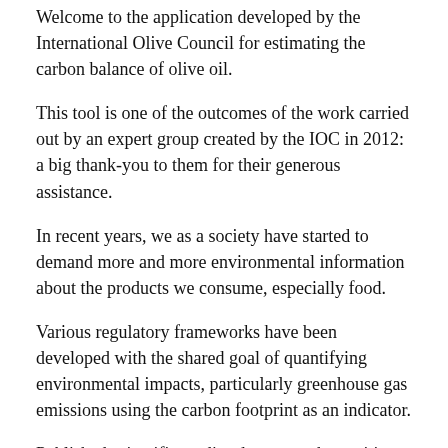Welcome to the application developed by the International Olive Council for estimating the carbon balance of olive oil.
This tool is one of the outcomes of the work carried out by an expert group created by the IOC in 2012: a big thank-you to them for their generous assistance.
In recent years, we as a society have started to demand more and more environmental information about the products we consume, especially food.
Various regulatory frameworks have been developed with the shared goal of quantifying environmental impacts, particularly greenhouse gas emissions using the carbon footprint as an indicator.
Published scientific studies document the positive environmental effects of olive growing – in terms of biodiversity, soil improvement, as a barrier against desertification, etc – and show how certain agricultural practices increase the